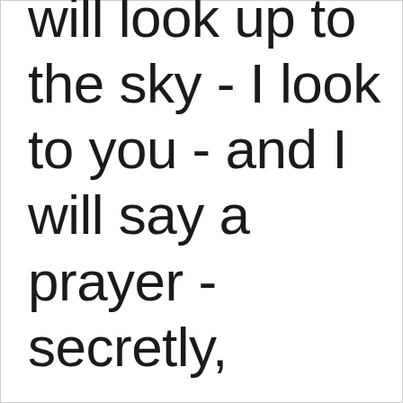will look up to the sky - I look to you - and I will say a prayer - secretly,